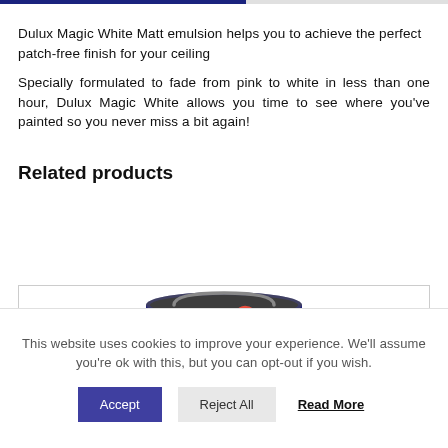Dulux Magic White Matt emulsion helps you to achieve the perfect patch-free finish for your ceiling
Specially formulated to fade from pink to white in less than one hour, Dulux Magic White allows you time to see where you've painted so you never miss a bit again!
Related products
[Figure (photo): A paint tin with a colorful wave/brush-stroke logo on a dark blue background]
This website uses cookies to improve your experience. We'll assume you're ok with this, but you can opt-out if you wish.
Accept | Reject All | Read More